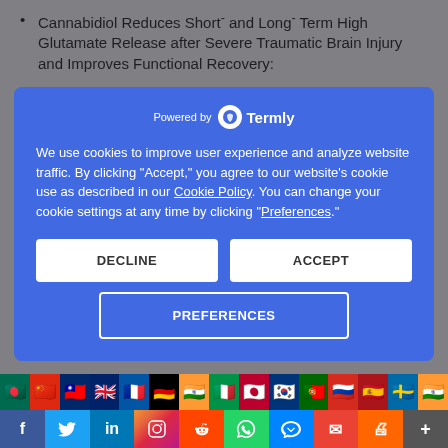Cannabidiol Reduces Short- and Long-Term High Glutamate Release after Severe Traumatic Brain Injury and Improves Functional Recovery:
administration of CBD (50, 100, or 200
[Figure (screenshot): Cookie consent modal from Termly with blue background. Text: 'We use cookies to improve user experience and analyze website traffic. By clicking Accept, you agree to our website's cookie use as described in our Cookie Policy. You can change your cookie settings at any time by clicking Preferences.' Three buttons: DECLINE, ACCEPT, PREFERENCES.]
[Figure (infographic): Row of country flag icons including Bangladesh, China, Taiwan, UK, France, Germany, India, Italy, Japan, South Korea, Portugal/India, Russia, Spain, Sweden, India]
[Figure (infographic): Social media share bar with icons for Facebook, Twitter, LinkedIn, Instagram, Reddit, WhatsApp, Messenger, Email, Print, More]